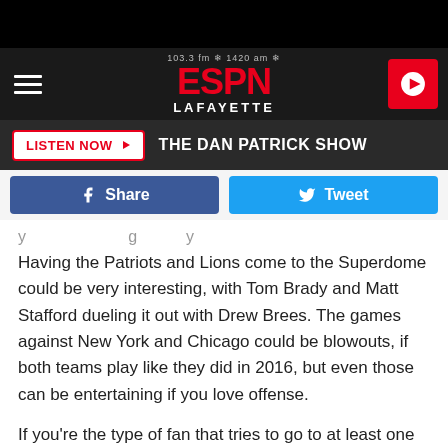[Figure (screenshot): ESPN Lafayette radio station header with hamburger menu, ESPN Lafayette logo (103.3 fm / 1420 am), and red play button]
LISTEN NOW ▶  THE DAN PATRICK SHOW
[Figure (infographic): Facebook Share button and Twitter Tweet button]
Having the Patriots and Lions come to the Superdome could be very interesting, with Tom Brady and Matt Stafford dueling it out with Drew Brees. The games against New York and Chicago could be blowouts, if both teams play like they did in 2016, but even those can be entertaining if you love offense.
If you're the type of fan that tries to go to at least one road game, you might want to buy a winter coat.